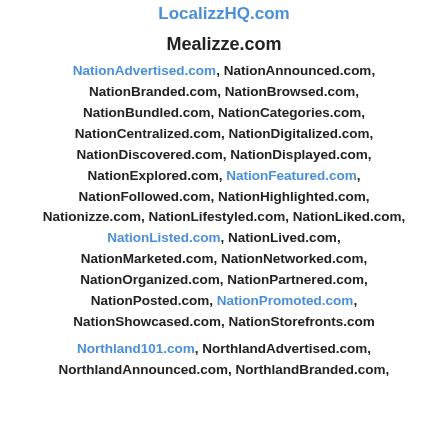LocalizzHQ.com
Mealizze.com
NationAdvertised.com, NationAnnounced.com, NationBranded.com, NationBrowsed.com, NationBundled.com, NationCategories.com, NationCentralized.com, NationDigitalized.com, NationDiscovered.com, NationDisplayed.com, NationExplored.com, NationFeatured.com, NationFollowed.com, NationHighlighted.com, Nationizze.com, NationLifestyled.com, NationLiked.com, NationListed.com, NationLived.com, NationMarketed.com, NationNetworked.com, NationOrganized.com, NationPartnered.com, NationPosted.com, NationPromoted.com, NationShowcased.com, NationStorefronts.com
Northland101.com, NorthlandAdvertised.com, NorthlandAnnounced.com, NorthlandBranded.com,